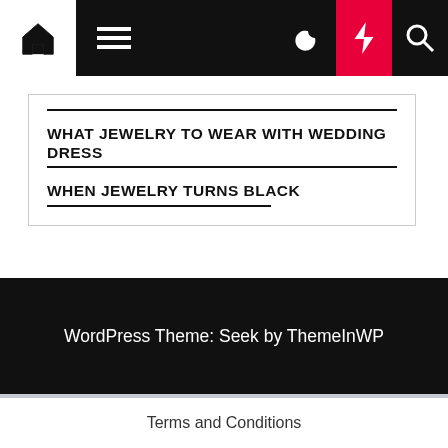[Figure (screenshot): Website navigation bar with home icon, hamburger menu, dark mode toggle, lightning bolt (red background), and search icon]
WHAT JEWELRY TO WEAR WITH WEDDING DRESS
WHEN JEWELRY TURNS BLACK
WordPress Theme: Seek by ThemeInWP
Subscribe US Now
Terms and Conditions